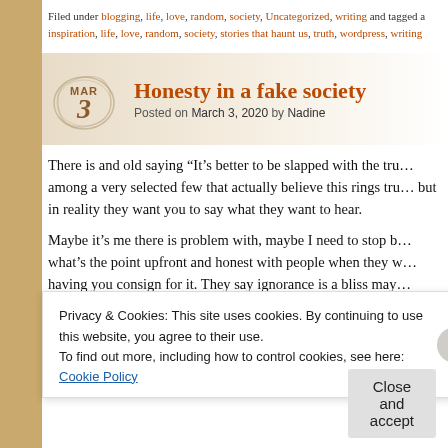Filed under blogging, life, love, random, society, Uncategorized, writing and tagged a inspiration, life, love, random, society, stories that haunt us, truth, wordpress, writing
Honesty in a fake society
Posted on March 3, 2020 by Nadine
There is and old saying “It’s better to be slapped with the tru among a very selected few that actually believe this rings tru but in reality they want you to say what they want to hear.
Maybe it’s me there is problem with, maybe I need to stop b what’s the point upfront and honest with people when they w having you consign for it. They say ignorance is a bliss may
Privacy & Cookies: This site uses cookies. By continuing to use this website, you agree to their use.
To find out more, including how to control cookies, see here: Cookie Policy